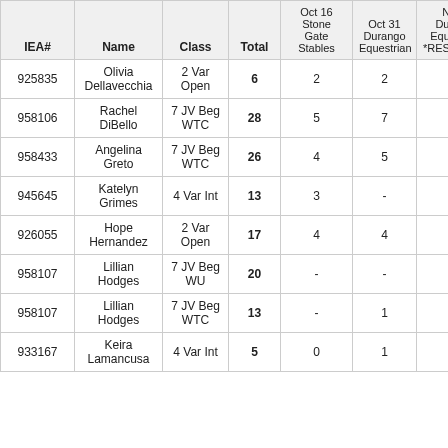| IEA# | Name | Class | Total | Oct 16 Stone Gate Stables | Oct 31 Durango Equestrian | Nov 6 Durango Equestrian *RESCHEDULED |
| --- | --- | --- | --- | --- | --- | --- |
| 925835 | Olivia Dellavecchia | 2 Var Open | 6 | 2 | 2 | 2 |
| 958106 | Rachel DiBello | 7 JV Beg WTC | 28 | 5 | 7 | 7 |
| 958433 | Angelina Greto | 7 JV Beg WTC | 26 | 4 | 5 | 3 |
| 945645 | Katelyn Grimes | 4 Var Int | 13 | 3 | - | 3 |
| 926055 | Hope Hernandez | 2 Var Open | 17 | 4 | 4 | 4 |
| 958107 | Lillian Hodges | 7 JV Beg WU | 20 | - | - | 5 |
| 958107 | Lillian Hodges | 7 JV Beg WTC | 13 | - | 1 | 0 |
| 933167 | Keira Lamancusa | 4 Var Int | 5 | 0 | 1 | 4 |